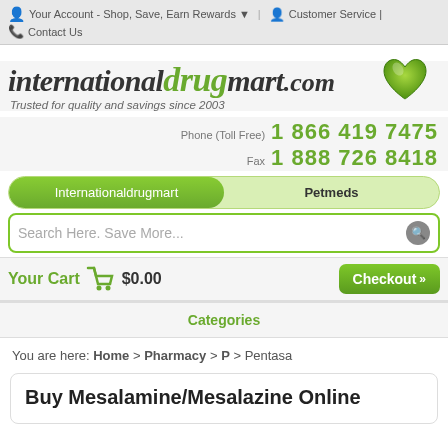Your Account - Shop, Save, Earn Rewards ▼ | Customer Service | Contact Us
[Figure (logo): internationaldrug mart.com logo with green heart icon and tagline 'Trusted for quality and savings since 2003']
Phone (Toll Free) 1 866 419 7475
Fax 1 888 726 8418
Internationaldrugmart | Petmeds (tab navigation)
Search Here. Save More...
Your Cart $0.00  Checkout >>
Categories
You are here: Home > Pharmacy > P > Pentasa
Buy Mesalamine/Mesalazine Online